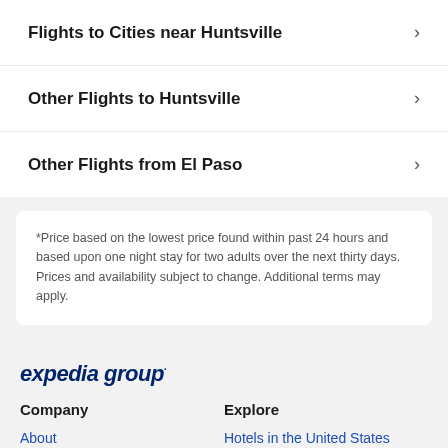Flights to Cities near Huntsville
Other Flights to Huntsville
Other Flights from El Paso
*Price based on the lowest price found within past 24 hours and based upon one night stay for two adults over the next thirty days. Prices and availability subject to change. Additional terms may apply.
[Figure (logo): Expedia Group logo in dark navy blue italic text]
Company
Explore
About
Hotels in the United States
Jobs
Cars in the United States